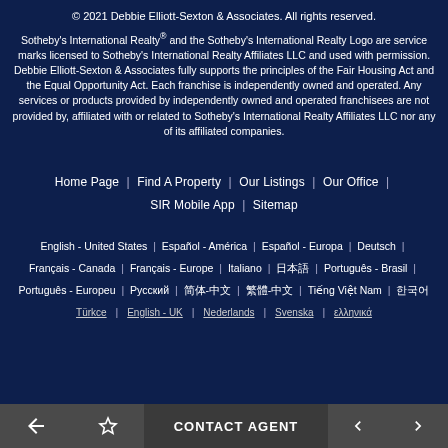© 2021 Debbie Elliott-Sexton & Associates. All rights reserved.
Sotheby's International Realty® and the Sotheby's International Realty Logo are service marks licensed to Sotheby's International Realty Affiliates LLC and used with permission. Debbie Elliott-Sexton & Associates fully supports the principles of the Fair Housing Act and the Equal Opportunity Act. Each franchise is independently owned and operated. Any services or products provided by independently owned and operated franchisees are not provided by, affiliated with or related to Sotheby's International Realty Affiliates LLC nor any of its affiliated companies.
Home Page | Find A Property | Our Listings | Our Office | SIR Mobile App | Sitemap
English - United States | Español - América | Español - Europa | Deutsch | Français - Canada | Français - Europe | Italiano | 日本語 | Português - Brasil | Português - Europeu | Русский | 简体-中文 | 繁體-中文 | Tiếng Việt Nam | 한국어 | Türkce | English - UK | Nederlands | Svenska | ελληνικά
CONTACT AGENT